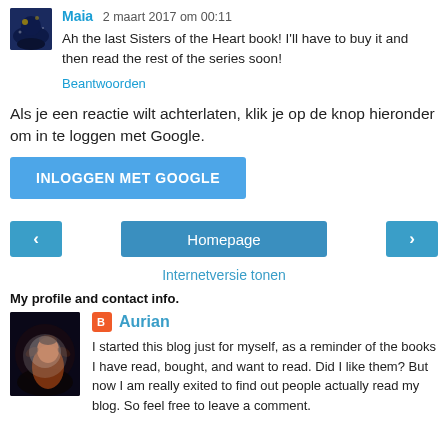Maia 2 maart 2017 om 00:11
Ah the last Sisters of the Heart book! I'll have to buy it and then read the rest of the series soon!
Beantwoorden
Als je een reactie wilt achterlaten, klik je op de knop hieronder om in te loggen met Google.
INLOGGEN MET GOOGLE
‹
Homepage
›
Internetversie tonen
My profile and contact info.
Aurian
I started this blog just for myself, as a reminder of the books I have read, bought, and want to read. Did I like them? But now I am really exited to find out people actually read my blog. So feel free to leave a comment.